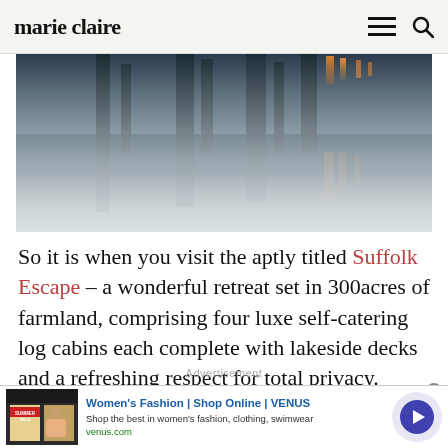marie claire
[Figure (photo): Atmospheric long-exposure photo of a waterfront or lakeside scene at dusk, with vertical light reflections (orange/amber tones) on dark teal water with a misty foggy foreground]
So it is when you visit the aptly titled Suffolk Escape – a wonderful retreat set in 300acres of farmland, comprising four luxe self-catering log cabins each complete with lakeside decks and a refreshing respect for total privacy.
Advertisement
[Figure (screenshot): Advertisement banner for Women's Fashion | Shop Online | VENUS. Shows ad image on left with Summer Sale promotion, text 'Women's Fashion | Shop Online | VENUS', 'Shop the best in women's fashion, clothing, swimwear', 'venus.com', and a circular arrow button on the right.]